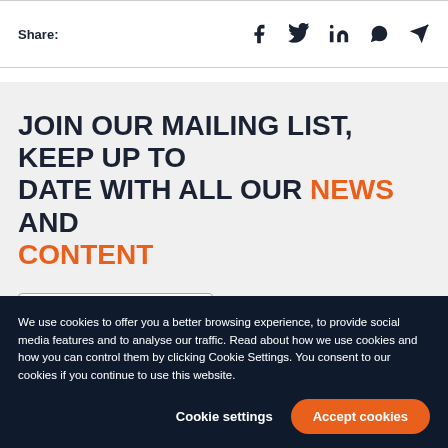Share:
[Figure (infographic): Social share icons: Facebook, Twitter, LinkedIn, WhatsApp, Send/Email]
JOIN OUR MAILING LIST, KEEP UP TO DATE WITH ALL OUR NEWS AND CONTENT
[Figure (other): Email input field box]
We use cookies to offer you a better browsing experience, to provide social media features and to analyse our traffic. Read about how we use cookies and how you can control them by clicking Cookie Settings. You consent to our cookies if you continue to use this website.
Cookie settings
Accept cookies